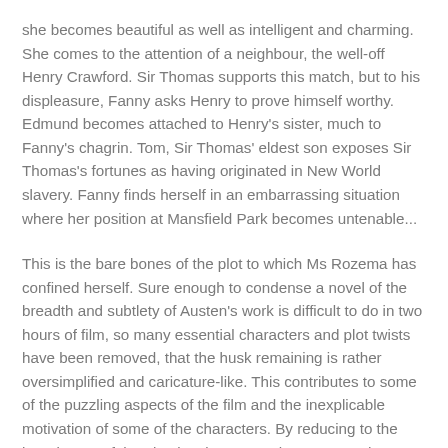she becomes beautiful as well as intelligent and charming. She comes to the attention of a neighbour, the well-off Henry Crawford. Sir Thomas supports this match, but to his displeasure, Fanny asks Henry to prove himself worthy. Edmund becomes attached to Henry's sister, much to Fanny's chagrin. Tom, Sir Thomas' eldest son exposes Sir Thomas's fortunes as having originated in New World slavery. Fanny finds herself in an embarrassing situation where her position at Mansfield Park becomes untenable...
This is the bare bones of the plot to which Ms Rozema has confined herself. Sure enough to condense a novel of the breadth and subtlety of Austen's work is difficult to do in two hours of film, so many essential characters and plot twists have been removed, that the husk remaining is rather oversimplified and caricature-like. This contributes to some of the puzzling aspects of the film and the inexplicable motivation of some of the characters. By reducing to the bare boens of the plot, leaving many characters and stressing the wrong parts (or even adding some parts that were not in the novel), the film becomes a poor adaptation.